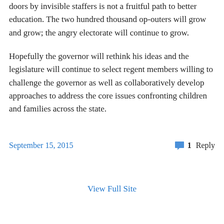doors by invisible staffers is not a fruitful path to better education. The two hundred thousand op-outers will grow and grow; the angry electorate will continue to grow.
Hopefully the governor will rethink his ideas and the legislature will continue to select regent members willing to challenge the governor as well as collaboratively develop approaches to address the core issues confronting children and families across the state.
September 15, 2015
1 Reply
View Full Site